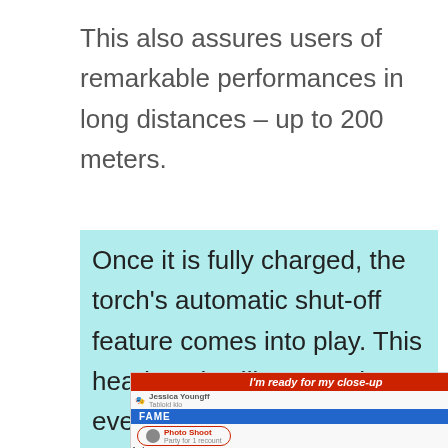This also assures users of remarkable performances in long distances – up to 200 meters.
Once it is fully charged, the torch's automatic shut-off feature comes into play. This head torch will not overheat even when used for long periods of
[Figure (screenshot): Advertisement for BitLife - Life Simulator app showing a mobile game screenshot with a red top bar reading 'I'm ready for my close-up', a blue bar with FAME, a Photo Shoot option circled in red, a Talk Show option, and a BitLife logo. The ad title reads 'BitLife - Life Simulator' in blue.]
Ad